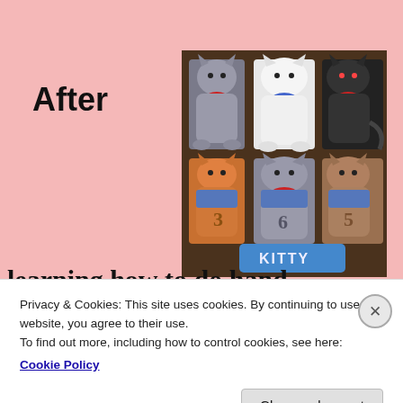After
[Figure (photo): A needlework/cross-stitch project showing six cats arranged in two rows on a dark background, each cat wearing a colorful outfit. Bottom row has a blue banner reading 'KITTY'. Cats include grey, white, black, orange, grey, and brown colored designs.]
learning how to do hand needlework
Privacy & Cookies: This site uses cookies. By continuing to use this website, you agree to their use.
To find out more, including how to control cookies, see here: Cookie Policy
Close and accept